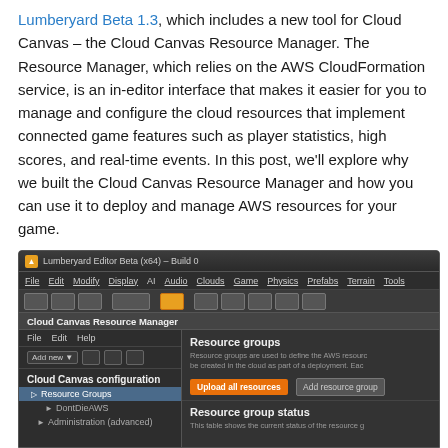Lumberyard Beta 1.3, which includes a new tool for Cloud Canvas – the Cloud Canvas Resource Manager. The Resource Manager, which relies on the AWS CloudFormation service, is an in-editor interface that makes it easier for you to manage and configure the cloud resources that implement connected game features such as player statistics, high scores, and real-time events. In this post, we'll explore why we built the Cloud Canvas Resource Manager and how you can use it to deploy and manage AWS resources for your game.
[Figure (screenshot): Screenshot of the Lumberyard Editor Beta (x64) - Build 0, showing the Cloud Canvas Resource Manager plugin window with a left panel containing Cloud Canvas configuration tree (Resource Groups, DontDieAWS, Administration (advanced)) and a right panel showing Resource groups description with Upload all resources and Add resource group buttons, and a Resource group status section.]